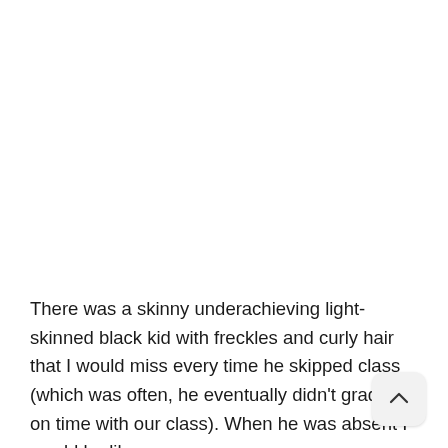There was a skinny underachieving light-skinned black kid with freckles and curly hair that I would miss every time he skipped class (which was often, he eventually didn't graduate on time with our class). When he was absent I would be like: